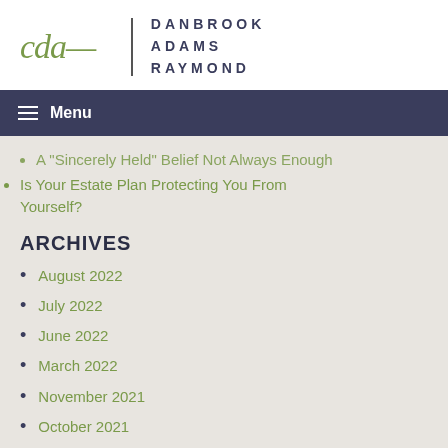[Figure (logo): Danbrook Adams Raymond law firm logo with cursive 'cdan' script in olive green, vertical divider line, and firm name in dark navy spaced capitals]
Menu
A "Sincerely Held" Belief Not Always Enough
Is Your Estate Plan Protecting You From Yourself?
ARCHIVES
August 2022
July 2022
June 2022
March 2022
November 2021
October 2021
September 2021